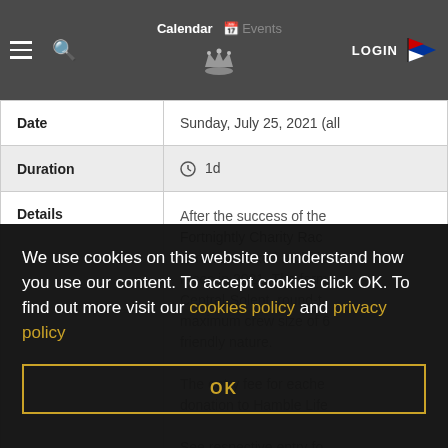Calendar | Events | LOGIN
| Field | Value |
| --- | --- |
| Date | Sunday, July 25, 2021 (all |
| Duration | 1d |
| Details | After the success of the Fortnightly Charity Rac... to run a relaxed and frie... races in 2021. The form... Central-Solent, round-t... maximum crew size of 6... friendly nature. The entry fee for eache... donation to Hamble Life... See respective entry fo... documentation on each |
We use cookies on this website to understand how you use our content. To accept cookies click OK. To find out more visit our cookies policy and privacy policy
OK